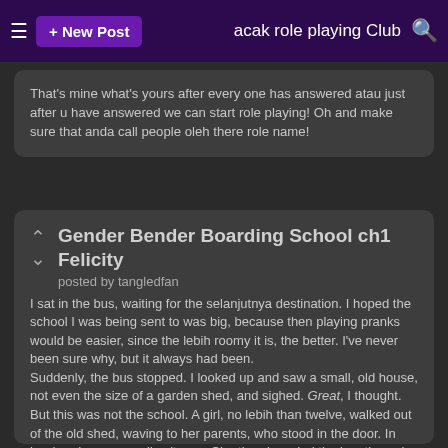acak role playing Club
That's mine what's yours after every one has answered atau just after u have answered we can start role playing! Oh and make sure that anda call people oleh there role name!
Gender Bender Boarding School ch1 Felicity
posted by tangledfan
I sat in the bus, waiting for the selanjutnya destination. I hoped the school I was being sent to was big, because then playing pranks would be easier, since the lebih roomy it is, the better. I've never been sure why, but it always had been. Suddenly, the bus stopped. I looked up and saw a small, old house, not even the size of a garden shed, and sighed. Great, I thought. But this was not the school. A girl, no lebih than twelve, walked out of the old shed, waving to her parents, who stood in the door. In her hand was a small suitcase. She then boarded the bus through its open doors and sat down, setting...